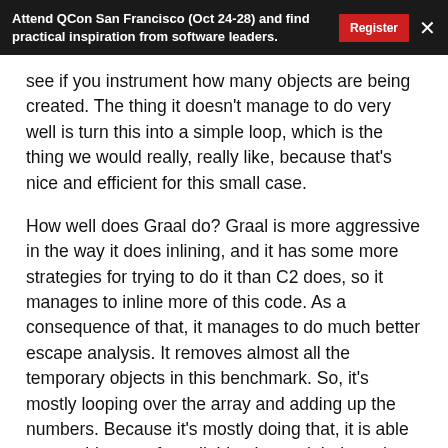Attend QCon San Francisco (Oct 24-28) and find practical inspiration from software leaders.
see if you instrument how many objects are being created. The thing it doesn't manage to do very well is turn this into a simple loop, which is the thing we would really, really like, because that's nice and efficient for this small case.
How well does Graal do? Graal is more aggressive in the way it does inlining, and it has some more strategies for trying to do it than C2 does, so it manages to inline more of this code. As a consequence of that, it manages to do much better escape analysis. It removes almost all the temporary objects in this benchmark. So, it's mostly looping over the array and adding up the numbers. Because it's mostly doing that, it is able to turn this sort of small thing into a tight loop that actually